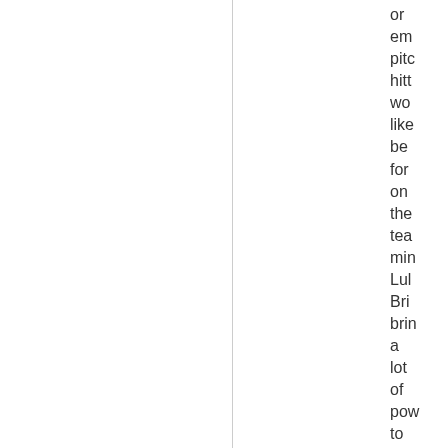or em pitc hitt wo like be for on the tea min Lul Bri brin a lot of pow to the line but his